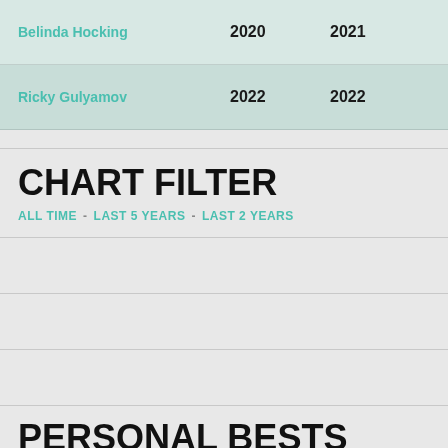| Name | Year | Year |
| --- | --- | --- |
| Belinda Hocking | 2020 | 2021 |
| Ricky Gulyamov | 2022 | 2022 |
CHART FILTER
ALL TIME - LAST 5 YEARS - LAST 2 YEARS
PERSONAL BESTS
| CATEGORY | SNATCH | CL | TOTAL |
| --- | --- | --- | --- |